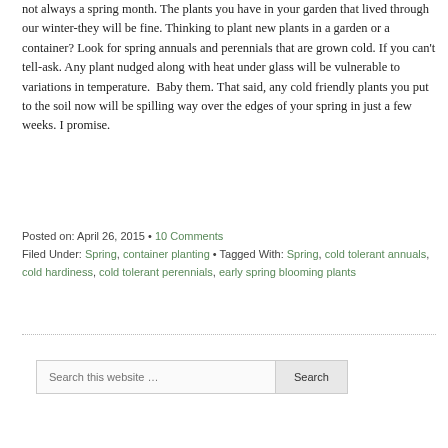not always a spring month. The plants you have in your garden that lived through our winter-they will be fine. Thinking to plant new plants in a garden or a container? Look for spring annuals and perennials that are grown cold. If you can't tell-ask. Any plant nudged along with heat under glass will be vulnerable to variations in temperature.  Baby them. That said, any cold friendly plants you put to the soil now will be spilling way over the edges of your spring in just a few weeks. I promise.
Posted on: April 26, 2015 · 10 Comments
Filed Under: Spring, container planting · Tagged With: Spring, cold tolerant annuals, cold hardiness, cold tolerant perennials, early spring blooming plants